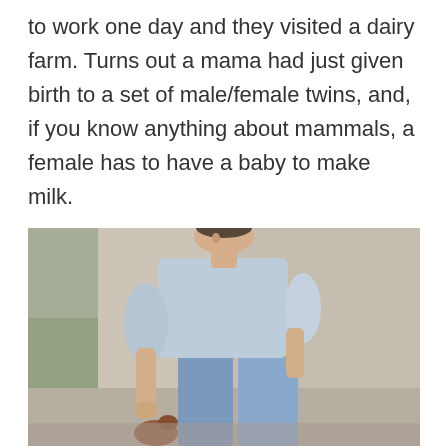to work one day and they visited a dairy farm. Turns out a mama had just given birth to a set of male/female twins, and, if you know anything about mammals, a female has to have a baby to make milk.
[Figure (photo): A man in a light blue long-sleeve shirt and jeans bending down toward a small animal (appears to be a cat or small animal) near a stone wall outdoors.]